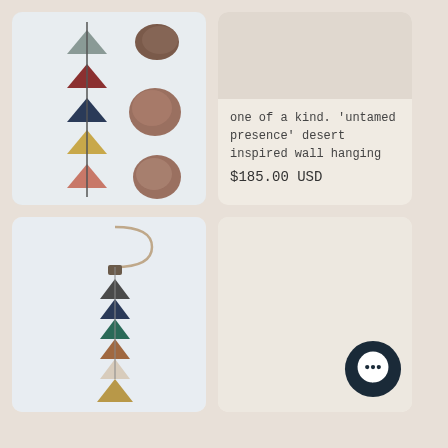[Figure (photo): Photo of colorful triangle-shaped ceramic beads and rough mineral stones arranged in a vertical line on a white background]
one of a kind. 'untamed presence' desert inspired wall hanging
$185.00 USD
[Figure (photo): Empty light-colored background placeholder for product image]
one of a kind. 'untamed presence' desert inspired wall hanging
$185.00 USD
[Figure (photo): Photo of a wall hanging with stacked colorful triangle ceramic beads on a wire hook against a white background]
[Figure (other): Empty card with a dark circular chat button icon in the bottom right corner]